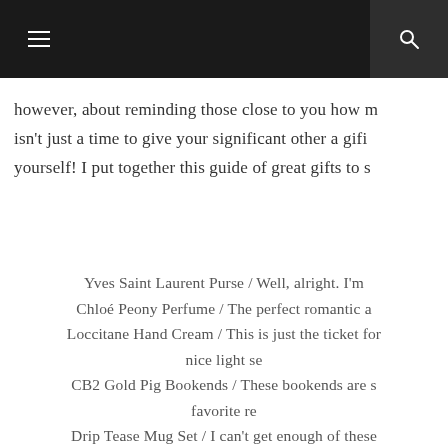however, about reminding those close to you how m isn't just a time to give your significant other a gif yourself! I put together this guide of great gifts to s
Yves Saint Laurent Purse / Well, alright. I'm
Chloé Peony Perfume / The perfect romantic a
Loccitane Hand Cream / This is just the ticket for nice light se
CB2 Gold Pig Bookends / These bookends are s favorite re
Drip Tease Mug Set / I can't get enough of these perfect and just the item you need to snug
You are Beautiful Print / Perfection c